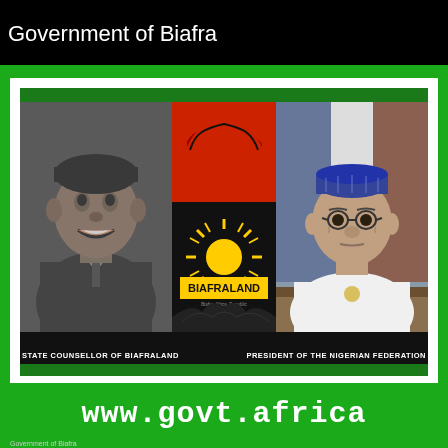Government of Biafra
[Figure (illustration): Composite image showing: left - black and white photo of a smiling man labeled 'STATE COUNSELLOR OF BIAFRALAND'; center - Biafraland logo with map of Biafra in red on black background with a rising sun emblem and the word BIAFRALAND; right - color photo of an older man in white traditional dress labeled 'PRESIDENT OF THE NIGERIAN FEDERATION'. Green border frames the composition.]
STATE COUNSELLOR OF BIAFRALAND
PRESIDENT OF THE NIGERIAN FEDERATION
www.GOVT.AFRICA
Government of Biafra